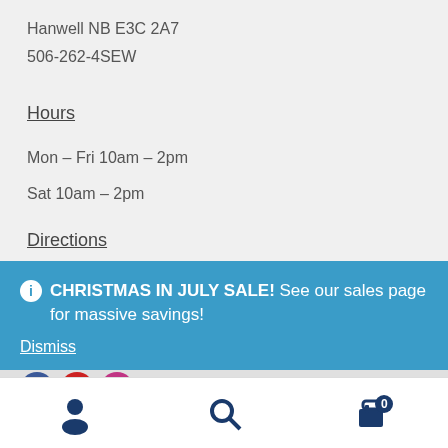Hanwell NB E3C 2A7
506-262-4SEW
Hours
Mon – Fri 10am – 2pm
Sat 10am – 2pm
Directions
CHRISTMAS IN JULY SALE! See our sales page for massive savings!
Dismiss
User | Search | Cart (0)